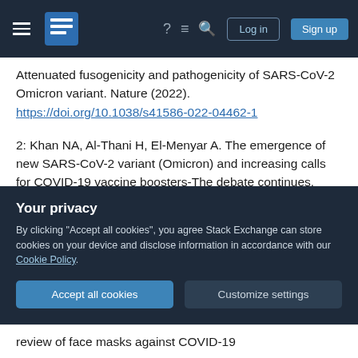Navigation bar with hamburger menu, Stack Exchange logo, help, chat, search icons, Log in and Sign up buttons
Attenuated fusogenicity and pathogenicity of SARS-CoV-2 Omicron variant. Nature (2022). https://doi.org/10.1038/s41586-022-04462-1
2: Khan NA, Al-Thani H, El-Menyar A. The emergence of new SARS-CoV-2 variant (Omicron) and increasing calls for COVID-19 vaccine boosters-The debate continues. Travel Med Infect Dis. 2022;45:102246. doi:10.1016/j.tmaid.2021.102246
3: Jeremy Howard, Austin Huang, Zhiyuan Li
Your privacy
By clicking "Accept all cookies", you agree Stack Exchange can store cookies on your device and disclose information in accordance with our Cookie Policy.
review of face masks against COVID-19